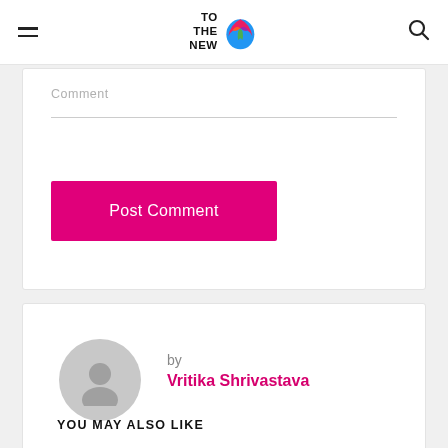TO THE NEW
Comment
Post Comment
by Vritika Shrivastava
YOU MAY ALSO LIKE